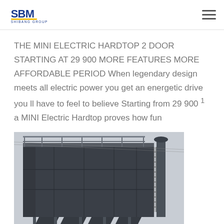SBM SHIBANG GROUP logo and navigation menu
THE MINI ELECTRIC HARDTOP 2 DOOR STARTING AT 29 900 MORE FEATURES MORE AFFORDABLE PERIOD When legendary design meets all electric power you get an energetic drive you ll have to feel to believe Starting from 29 900 ¹ a MINI Electric Hardtop proves how fun
[Figure (photo): Industrial dust collector or baghouse filter unit — a large dark grey rectangular structure with multiple chambers, metal walkway railings on top, and a cylindrical exhaust chimney on the right side, supported on metal legs with hopper sections below]